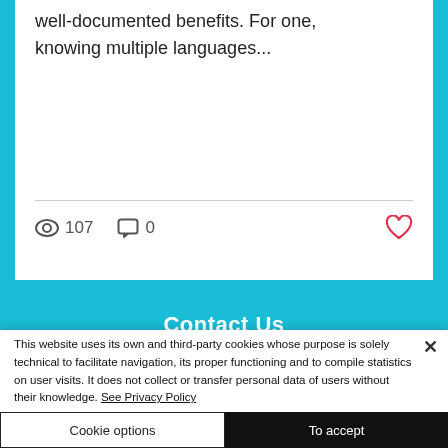well-documented benefits. For one, knowing multiple languages...
107 views  0 comments  heart/like
Contact Us
This website uses its own and third-party cookies whose purpose is solely technical to facilitate navigation, its proper functioning and to compile statistics on user visits. It does not collect or transfer personal data of users without their knowledge. See Privacy Policy
Cookie options
To accept